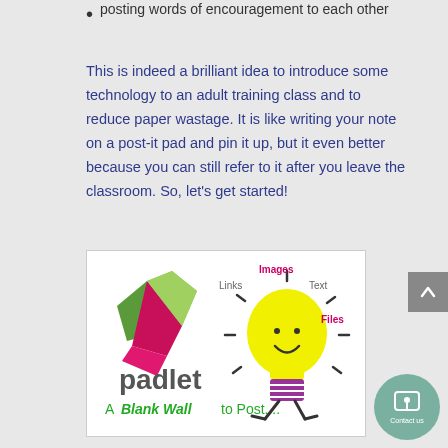posting words of encouragement to each other
This is indeed a brilliant idea to introduce some technology to an adult training class and to reduce paper wastage. It is like writing your note on a post-it pad and pin it up, but it even better because you can still refer to it after you leave the classroom. So, let's get started!
[Figure (illustration): Padlet logo with origami bird and light bulb character. Text reads: padlet, A Blank Wall to Post.... with labels Images, Links, Text, Files around the light bulb.]